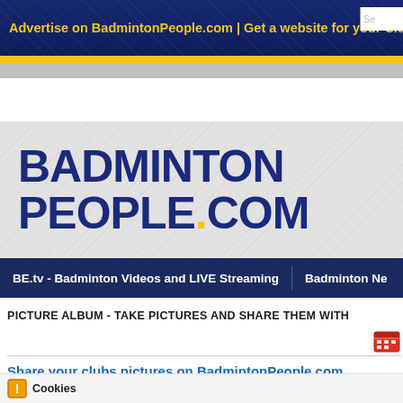Advertise on BadmintonPeople.com | Get a website for your Club
[Figure (logo): BadmintonPeople.com logo in dark blue bold text with yellow dot]
BE.tv - Badminton Videos and LIVE Streaming | Badminton Ne...
PICTURE ALBUM - TAKE PICTURES AND SHARE THEM WITH
Share your clubs pictures on BadmintonPeople.com
Cookies